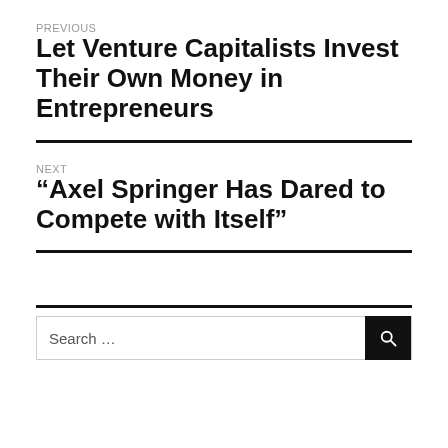PREVIOUS
Let Venture Capitalists Invest Their Own Money in Entrepreneurs
NEXT
“Axel Springer Has Dared to Compete with Itself”
Search …